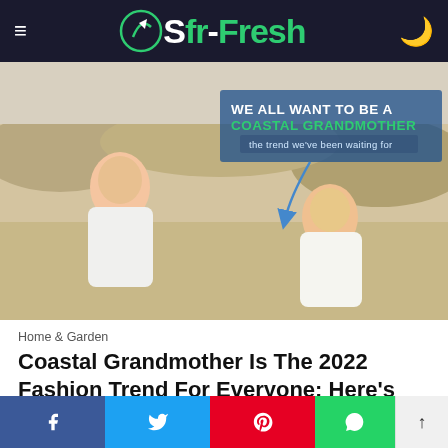Sfr-Fresh
[Figure (photo): Two older adults sitting and laughing on a beach with sand dunes in the background. Overlay text reads: WE ALL WANT TO BE A COASTAL GRANDMOTHER — the trend we've been waiting for]
Home & Garden
Coastal Grandmother Is The 2022 Fashion Trend For Everyone: Here's How To Get It
Social share bar: Facebook, Twitter, Pinterest, WhatsApp, scroll-up button